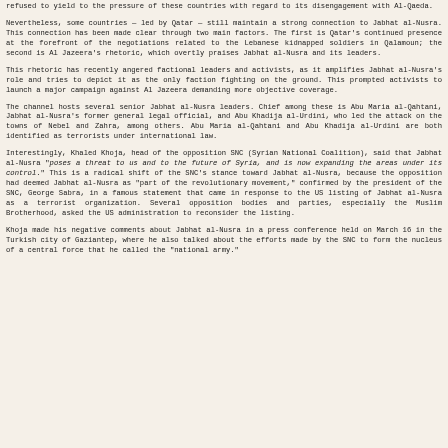refused to yield to the pressure of these countries with regard to its disengagement with Al-Qaeda.
Nevertheless, some countries — led by Qatar — still maintain a strong connection to Jabhat al-Nusra. This connection has been made clear through two main factors. The first is Qatar's continued presence at the forefront of the negotiations related to the Lebanese kidnapped soldiers in Qalamoun; the second is Al Jazeera's rhetoric, which overtly praises Jabhat al-Nusra and its leaders.
This rhetoric has recently angered factional leaders and activists, as it amplifies Jabhat al-Nusra's role and tries to depict it as the only faction fighting on the ground. This prompted activists to launch a major campaign against Al Jazeera demanding more objective coverage.
The channel hosts several senior Jabhat al-Nusra leaders. Chief among these is Abu Maria al-Qahtani, Jabhat al-Nusra's former general legal official, and Abu Khadija al-Urdini, who led the attack on the towns of Nebel and Zahra, among others. Abu Maria al-Qahtani and Abu Khadija al-Urdini are both identified as terrorists under international law.
Interestingly, Khaled Khoja, head of the opposition SNC (Syrian National Coalition), said that Jabhat al-Nusra "poses a threat to us and to the future of Syria, and is now expanding the areas under its control." This is a radical shift of the SNC's stance toward Jabhat al-Nusra, because the opposition had deemed Jabhat al-Nusra as "part of the revolutionary movement," confirmed by the president of the SNC, George Sabra, in a famous statement that came in response to the US listing of Jabhat al-Nusra as a terrorist organization. Several opposition bodies and parties, especially the Muslim Brotherhood, asked the US administration to reconsider the listing.
Khoja made his negative comments about Jabhat al-Nusra in a press conference held on March 16 in the Turkish city of Gaziantep, where he also talked about the efforts made by the SNC to form the nucleus of a central force that he called the "national army."